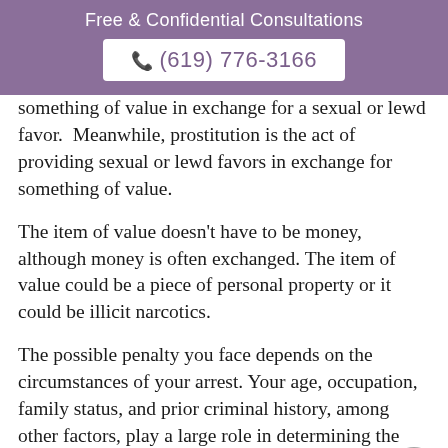Free & Confidential Consultations
☎ (619) 776-3166
something of value in exchange for a sexual or lewd favor.  Meanwhile, prostitution is the act of providing sexual or lewd favors in exchange for something of value.
The item of value doesn't have to be money, although money is often exchanged. The item of value could be a piece of personal property or it could be illicit narcotics.
The possible penalty you face depends on the circumstances of your arrest. Your age, occupation, family status, and prior criminal history, among other factors, play a large role in determining the sentence